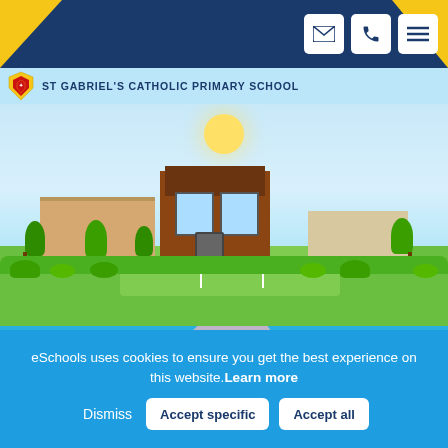[Figure (screenshot): School website screenshot showing St Gabriel's Catholic Primary School with navigation icons (email, phone, menu), illustrated school building banner, reception places promotion banner, and cookie consent bar]
ST GABRIEL'S CATHOLIC PRIMARY SCHOOL
RECEPTION SEPTEMBER 2022-2023
OF RECEPTION CLASS PLACES REMAIN AVAILA
eSchools uses cookies to ensure you get the best experience on this website.Learn more
Dismiss
Accept specific
Accept all